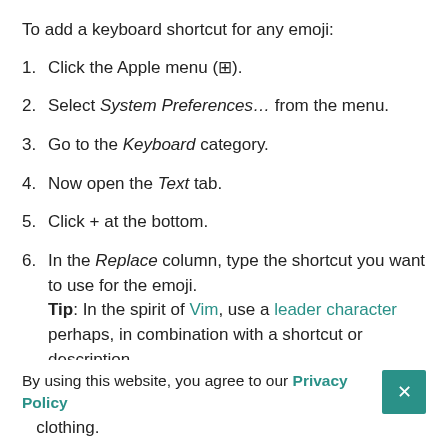To add a keyboard shortcut for any emoji:
1. Click the Apple menu (🍎).
2. Select System Preferences… from the menu.
3. Go to the Keyboard category.
4. Now open the Text tab.
5. Click + at the bottom.
6. In the Replace column, type the shortcut you want to use for the emoji. Tip: In the spirit of Vim, use a leader character perhaps, in combination with a shortcut or description.
By using this website, you agree to our Privacy Policy
clothing.